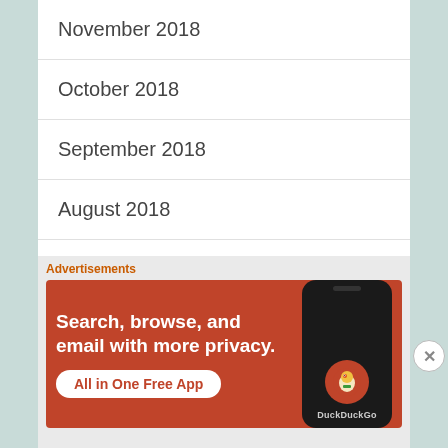November 2018
October 2018
September 2018
August 2018
July 2018
June 2018
May 2018
Advertisements
[Figure (illustration): DuckDuckGo advertisement banner with orange background. Text reads 'Search, browse, and email with more privacy. All in One Free App'. Shows a phone mockup with DuckDuckGo logo.]